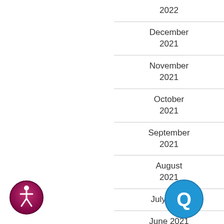2022
December 2021
November 2021
October 2021
September 2021
August 2021
July 2021
June 2021
May 2021
[Figure (logo): Accessibility icon — circular dark red/pink button with white person/wheelchair symbol]
[Figure (logo): Chat/Q icon — blue circular chat bubble button]